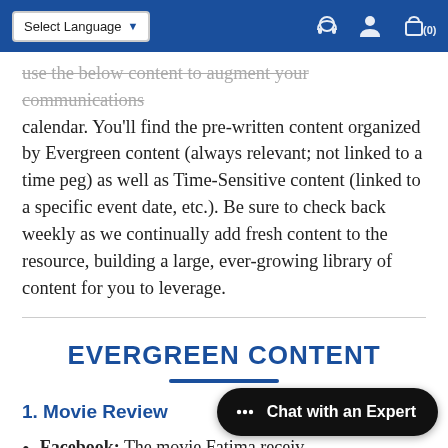Select Language
use the below content to augment your communications calendar. You'll find the pre-written content organized by Evergreen content (always relevant; not linked to a time peg) as well as Time-Sensitive content (linked to a specific event date, etc.). Be sure to check back weekly as we continually add fresh content to the resource, building a large, ever-growing library of content for you to leverage.
EVERGREEN CONTENT
1. Movie Review
Facebook: The movie Fatima receiv…